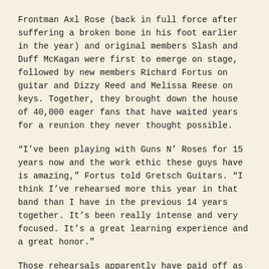Frontman Axl Rose (back in full force after suffering a broken bone in his foot earlier in the year) and original members Slash and Duff McKagan were first to emerge on stage, followed by new members Richard Fortus on guitar and Dizzy Reed and Melissa Reese on keys. Together, they brought down the house of 40,000 eager fans that have waited years for a reunion they never thought possible.
“I’ve been playing with Guns N’ Roses for 15 years now and the work ethic these guys have is amazing,” Fortus told Gretsch Guitars. “I think I’ve rehearsed more this year in that band than I have in the previous 14 years together. It’s been really intense and very focused. It’s a great learning experience and a great honor.”
Those rehearsals apparently have paid off as GNR put on a tight and epic two-and-a-half-hour performance that kicked off with “It’s So Easy” and included hits “Welcome to the Jungle,” “Chinese Democracy” and “Sweet Child O’ Mine.” GNR closed out the thrilling show with fan favorite “Paradise City.”